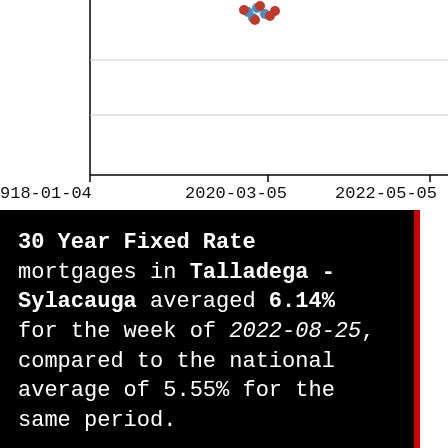[Figure (continuous-plot): Partial view of a time-series line/scatter chart showing mortgage rate data from 2018-01-04 to 2022-05-05, with red and blue data points clustered near the top. X-axis shows dates: 2018-01-04, 2020-03-05, 2022-05-05. The top and bottom portions of the chart are cut off.]
30 Year Fixed Rate mortgages in Talladega - Sylacauga averaged 6.14% for the week of 2022-08-25, compared to the national average of 5.55% for the same period.